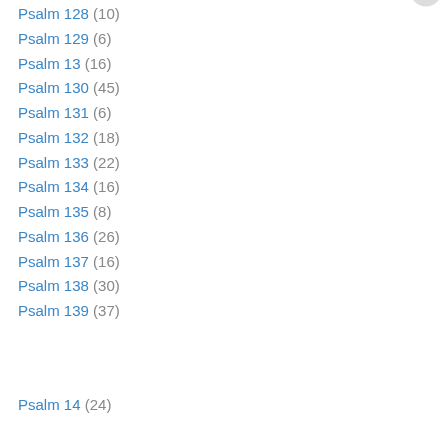Psalm 128 (10)
Psalm 129 (6)
Psalm 13 (16)
Psalm 130 (45)
Psalm 131 (6)
Psalm 132 (18)
Psalm 133 (22)
Psalm 134 (16)
Psalm 135 (8)
Psalm 136 (26)
Psalm 137 (16)
Psalm 138 (30)
Psalm 139 (37)
Psalm 14 (24)
Privacy & Cookies: This site uses cookies. By continuing to use this website, you agree to their use. To find out more, including how to control cookies, see here: Cookie Policy